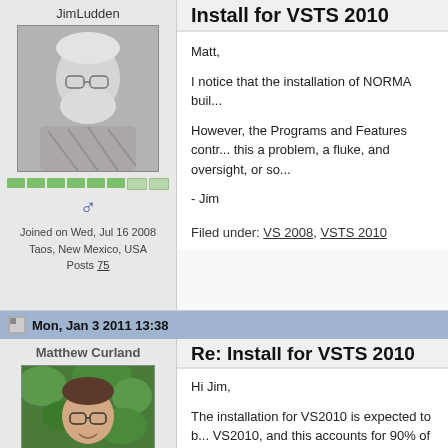JimLudden
[Figure (photo): Black and white photo of an elderly man with white hair and beard]
[Figure (other): Green rank pip bar]
♂
Joined on Wed, Jul 16 2008
Taos, New Mexico, USA
Posts 75
Install for VSTS 2010
Matt,

I notice that the installation of NORMA buil...

However, the Programs and Features contr... this a problem, a fluke, and oversight, or so...

- Jim
Filed under: VS 2008, VSTS 2010
Mon, Jan 3 2011 13:38
Matthew Curland
[Figure (photo): Color photo of a man with glasses and blue shirt outdoors]
Re: Install for VSTS 2010
Hi Jim,

The installation for VS2010 is expected to b... VS2010, and this accounts for 90% of the s...